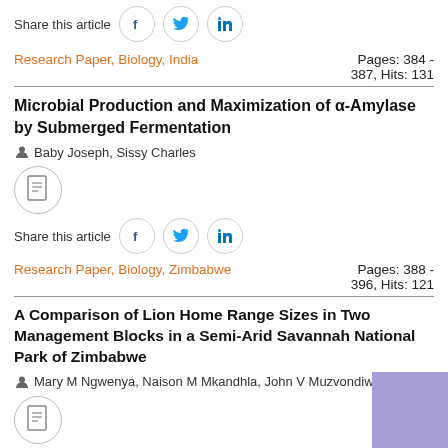Share this article
Research Paper, Biology, India — Pages: 384 - 387, Hits: 131
Microbial Production and Maximization of α-Amylase by Submerged Fermentation
Baby Joseph, Sissy Charles
Share this article
Research Paper, Biology, Zimbabwe — Pages: 388 - 396, Hits: 121
A Comparison of Lion Home Range Sizes in Two Management Blocks in a Semi-Arid Savannah National Park of Zimbabwe
Mary M Ngwenya, Naison M Mkandhla, John V Muzvondiwa